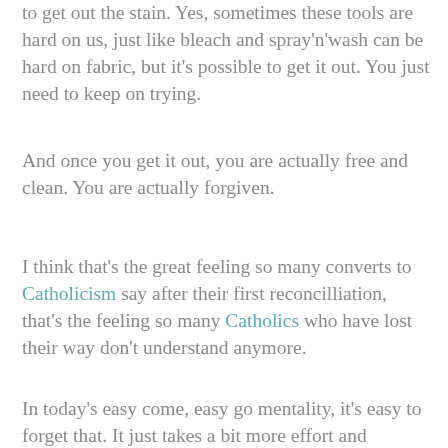to get out the stain. Yes, sometimes these tools are hard on us, just like bleach and spray'n'wash can be hard on fabric, but it's possible to get it out. You just need to keep on trying.
And once you get it out, you are actually free and clean. You are actually forgiven.
I think that's the great feeling so many converts to Catholicism say after their first reconcilliation, that's the feeling so many Catholics who have lost their way don't understand anymore.
In today's easy come, easy go mentality, it's easy to forget that. It just takes a bit more effort and